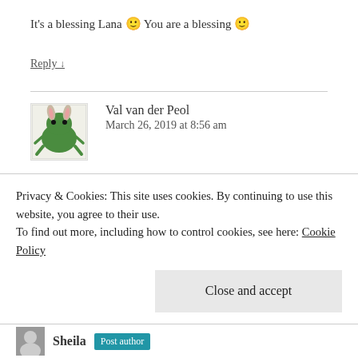It's a blessing Lana 🙂 You are a blessing 🙂
Reply ↓
Val van der Peol
March 26, 2019 at 8:56 am
[Figure (illustration): Green cartoon frog avatar with bunny ears]
A funny like painting Sheila – it made me smile the wonky little plant in the big pot. The winter photo card is super – beauty is everywhere if we are only open to it. What a haul from Nelvia! You are going to have lots of fun playing with
Privacy & Cookies: This site uses cookies. By continuing to use this website, you agree to their use.
To find out more, including how to control cookies, see here: Cookie Policy
Close and accept
Sheila  Post author